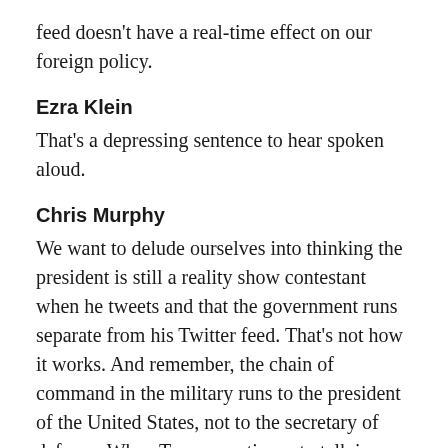feed doesn't have a real-time effect on our foreign policy.
Ezra Klein
That's a depressing sentence to hear spoken aloud.
Chris Murphy
We want to delude ourselves into thinking the president is still a reality show contestant when he tweets and that the government runs separate from his Twitter feed. That's not how it works. And remember, the chain of command in the military runs to the president of the United States, not to the secretary of defense. When Trump continues to talk in meetings about military action, whether or not Mattis agrees with him, it creates a momentum inside the chain of command.